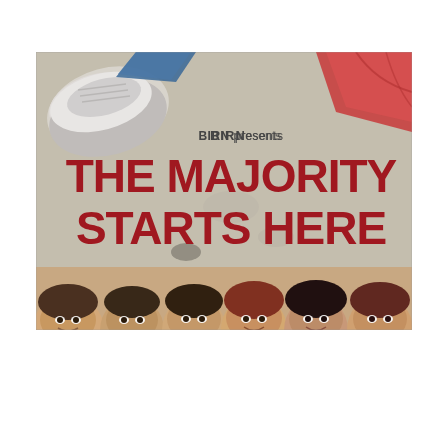[Figure (photo): Movie/campaign poster for 'BIRN presents THE MAJORITY STARTS HERE'. The image shows a top-down view of feet and clothing items (sneaker, blue fabric, red garment) on a concrete/ground surface in the upper portion. Below, six young people's faces (cropped from forehead to chin) are visible in a row along the bottom edge of the poster. Bold dark red text reads 'THE MAJORITY STARTS HERE' with smaller text 'BIRN presents' above it.]